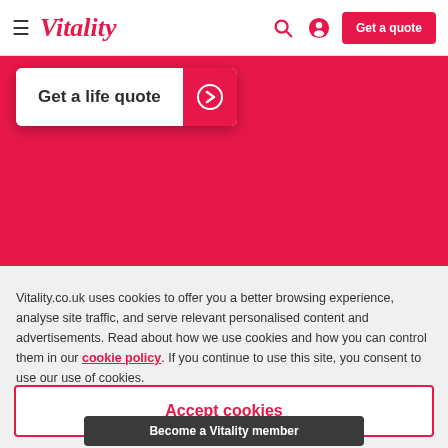Vitality — Get a quote
Get a life quote
Vitality.co.uk uses cookies to offer you a better browsing experience, analyse site traffic, and serve relevant personalised content and advertisements. Read about how we use cookies and how you can control them in our cookie policy. If you continue to use this site, you consent to use our use of cookies.
Accept cookies
Become a Vitality member